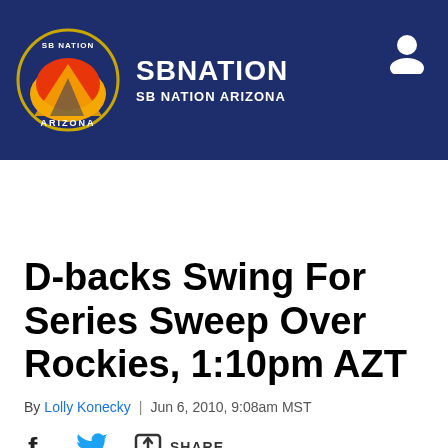SB NATION / SB NATION ARIZONA
D-backs Swing For Series Sweep Over Rockies, 1:10pm AZT
By Lolly Konecky | Jun 6, 2010, 9:08am MST
SHARE